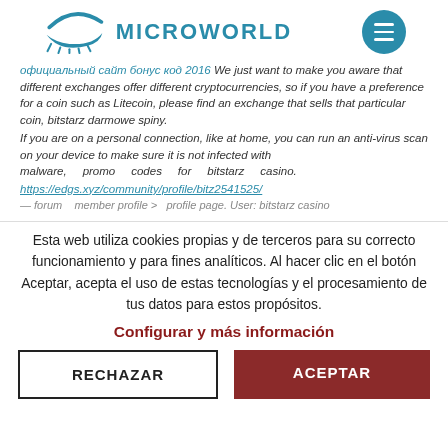[Figure (logo): Microworld logo with stylized eye/eyelash icon in teal and MICROWORLD text, plus teal circle menu button]
официальный сайт бонус код 2016 We just want to make you aware that different exchanges offer different cryptocurrencies, so if you have a preference for a coin such as Litecoin, please find an exchange that sells that particular coin, bitstarz darmowe spiny. If you are on a personal connection, like at home, you can run an anti-virus scan on your device to make sure it is not infected with malware, promo codes for bitstarz casino. https://edgs.xyz/community/profile/bitz2541525/
— forum member profile > profile page. User: bitstarz casino
Esta web utiliza cookies propias y de terceros para su correcto funcionamiento y para fines analíticos. Al hacer clic en el botón Aceptar, acepta el uso de estas tecnologías y el procesamiento de tus datos para estos propósitos.
Configurar y más información
RECHAZAR
ACEPTAR